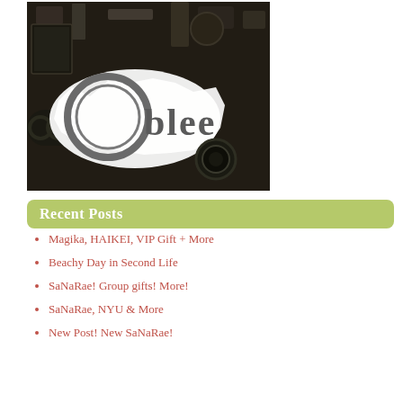[Figure (logo): Black and white overhead photo of workshop tools and items with a large circular letter 'O' and the text 'blee' overlaid, forming the word 'Oblee' logo]
Recent Posts
Magika, HAIKEI, VIP Gift + More
Beachy Day in Second Life
SaNaRae! Group gifts! More!
SaNaRae, NYU & More
New Post! New SaNaRae!